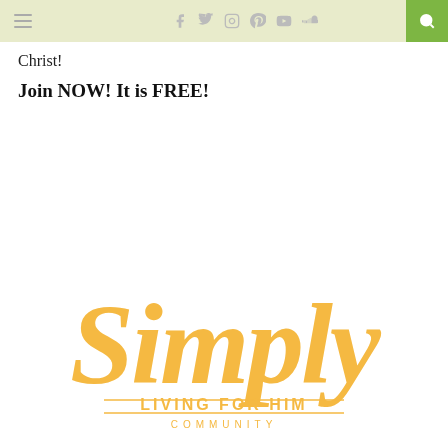Navigation bar with hamburger menu, social icons (Facebook, Twitter, Instagram, Pinterest, YouTube, SoundCloud), and search button
Christ!
Join NOW! It is FREE!
[Figure (logo): Simply Living For Him Community logo in golden/amber color, script font for 'Simply' with 'LIVING FOR HIM' and 'COMMUNITY' in block letters underneath]